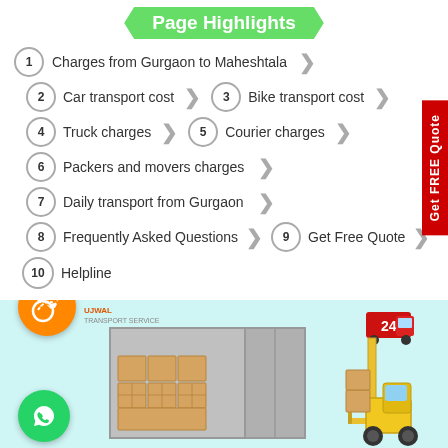Page Highlights
1 Charges from Gurgaon to Maheshtala
2 Car transport cost
3 Bike transport cost
4 Truck charges
5 Courier charges
6 Packers and movers charges
7 Daily transport from Gurgaon
8 Frequently Asked Questions
9 Get Free Quote
10 Helpline
[Figure (illustration): Transport company promotional image showing a shipping container with cardboard boxes and a forklift. Includes orange phone call icon, green WhatsApp icon, company logo 'UJWAL TRANSPORT SERVICE', and 24/7 badge with a truck.]